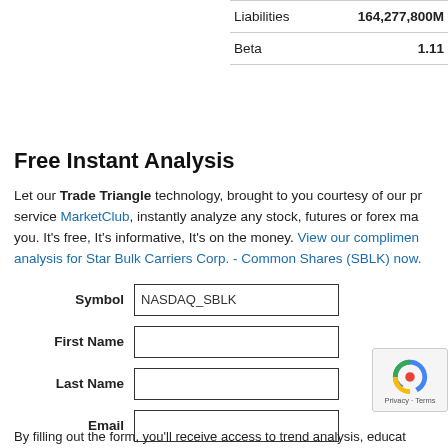|  |  |
| --- | --- |
| Liabilities | 164,277,800M |
| Beta | 1.11 |
Free Instant Analysis
Let our Trade Triangle technology, brought to you courtesy of our premium service MarketClub, instantly analyze any stock, futures or forex market for you. It's free, It's informative, It's on the money. View our complimentary analysis for Star Bulk Carriers Corp. - Common Shares (SBLK) now.
Symbol: NASDAQ_SBLK, First Name, Last Name, Email fields, Analyze button
By filling out the form, you'll receive access to trend analysis, educat